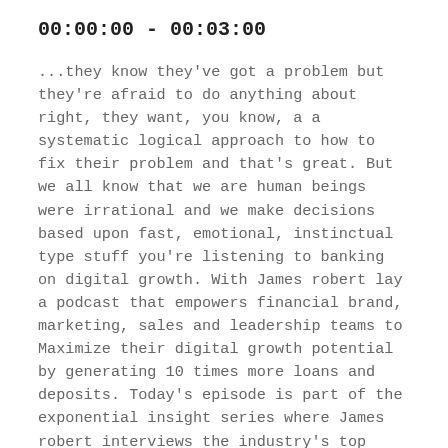00:00:00 - 00:03:00
...they know they've got a problem but they're afraid to do anything about right, they want, you know, a a systematic logical approach to how to fix their problem and that's great. But we all know that we are human beings were irrational and we make decisions based upon fast, emotional, instinctual type stuff you're listening to banking on digital growth. With James robert lay a podcast that empowers financial brand, marketing, sales and leadership teams to Maximize their digital growth potential by generating 10 times more loans and deposits. Today's episode is part of the exponential insight series where James robert interviews the industry's top marketing sales and fintech leaders sharing practical wisdom to exponentially elevate you and your team. Let's get into the show greetings in. Hello, I am James robert, ley and welcome to the 114th episode of the Banking on Digital Growth podcast. Today's episode is part of the exponential insight series and I'm excited to